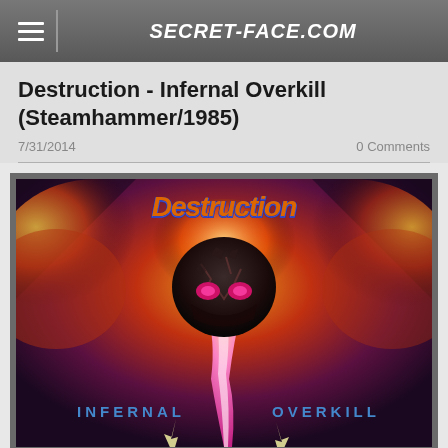SECRET-FACE.COM
Destruction - Infernal Overkill (Steamhammer/1985)
7/31/2014
0 Comments
[Figure (illustration): Album cover art for Destruction - Infernal Overkill (1985, Steamhammer). Shows a cracked dark skull floating above a beam of light/energy, surrounded by fire and explosion in deep red, orange and purple tones. The band name 'Destruction' appears in orange stylized letters at the top, and 'INFERNAL' and 'OVERKILL' appear in blue text at the bottom left and right respectively.]